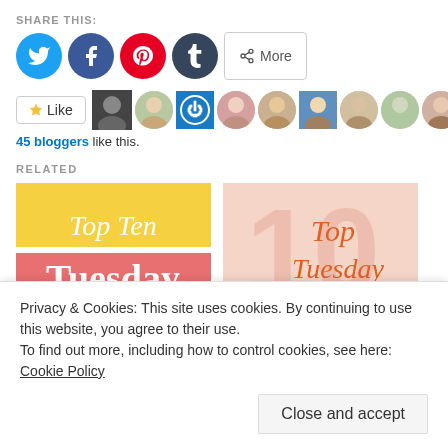SHARE THIS:
[Figure (infographic): Social share buttons: Twitter (blue circle), Facebook (blue circle), Pinterest (red circle), Tumblr (dark circle), More button]
[Figure (infographic): Like button with star icon, followed by a row of 11 blogger avatar thumbnails]
45 bloggers like this.
RELATED
[Figure (illustration): Top Ten Tuesday graphic with yellow top and pink/salmon bottom, white text]
[Figure (illustration): Top Tuesday graphic with light pink background and number 10 watermark, orange handwritten text]
Privacy & Cookies: This site uses cookies. By continuing to use this website, you agree to their use.
To find out more, including how to control cookies, see here: Cookie Policy
Close and accept